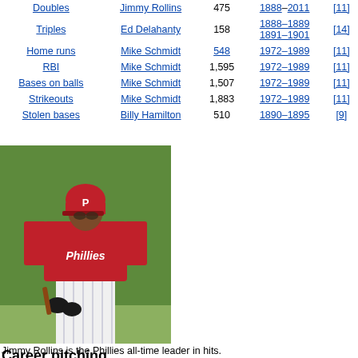| Category | Player | Value | Years | Ref |
| --- | --- | --- | --- | --- |
| Doubles | Jimmy Rollins | 475 | 1888–2011 | [11] |
| Triples | Ed Delahanty | 158 | 1888–1889 1891–1901 | [14] |
| Home runs | Mike Schmidt | 548 | 1972–1989 | [11] |
| RBI | Mike Schmidt | 1,595 | 1972–1989 | [11] |
| Bases on balls | Mike Schmidt | 1,507 | 1972–1989 | [11] |
| Strikeouts | Mike Schmidt | 1,883 | 1972–1989 | [11] |
| Stolen bases | Billy Hamilton | 510 | 1890–1895 | [9] |
[Figure (photo): Jimmy Rollins in a Philadelphia Phillies red uniform and helmet, holding a bat on the field.]
Jimmy Rollins is the Phillies all-time leader in hits.
Career pitching